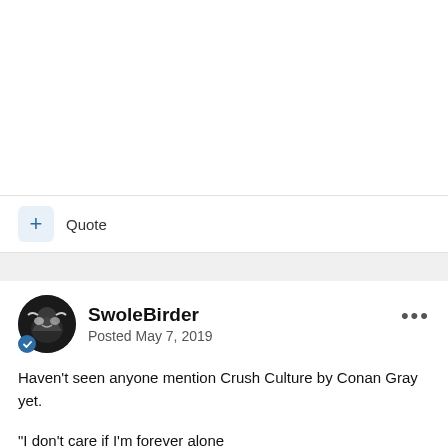[Figure (other): Empty white top section of a forum page]
+ Quote
SwoleBirder
Posted May 7, 2019
Haven't seen anyone mention Crush Culture by Conan Gray yet.
"I don't care if I'm forever alone
I'm not falling for you
'Cause this baby is loveproof